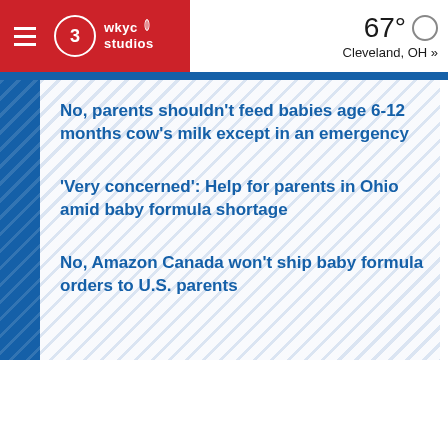3 WKYC Studios | 67° Cleveland, OH »
No, parents shouldn't feed babies age 6-12 months cow's milk except in an emergency
'Very concerned': Help for parents in Ohio amid baby formula shortage
No, Amazon Canada won't ship baby formula orders to U.S. parents